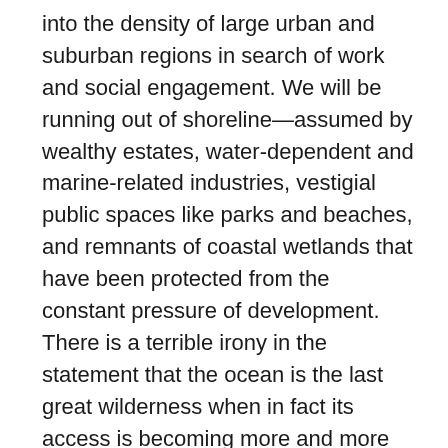into the density of large urban and suburban regions in search of work and social engagement. We will be running out of shoreline—assumed by wealthy estates, water-dependent and marine-related industries, vestigial public spaces like parks and beaches, and remnants of coastal wetlands that have been protected from the constant pressure of development. There is a terrible irony in the statement that the ocean is the last great wilderness when in fact its access is becoming more and more limited by human settlement, its value compromised by intensity of use. The wheel turns, as the American heartland, once wild, then civilized by the business of agriculture and fossil fuels, is now slowly abandoning to the wild as inhabitants move elsewhere.